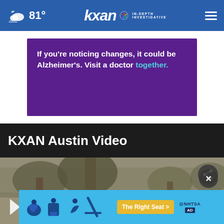81° KXAN IN-DEPTH INVESTIGATIVE
[Figure (screenshot): Purple advertisement banner: 'If you're noticing changes, it could be Alzheimer's. Visit a doctor together.']
KXAN Austin Video
[Figure (screenshot): Video player showing outdoor rainy/stormy scene with trees, share button top right, close (X) button, play button at bottom left. Bottom ad bar in blue: car seat safety icons, 'The Right Seat >' yellow button, NHTSA logo.]